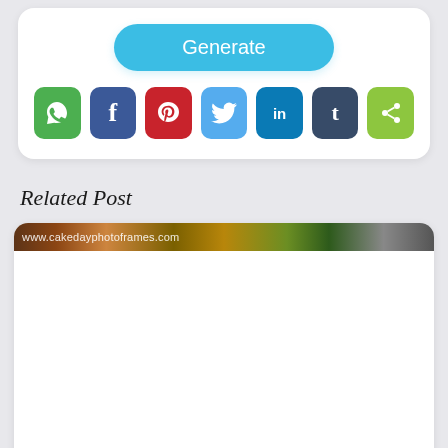[Figure (screenshot): Generate button (rounded, light blue) above a row of social media share buttons: WhatsApp (green), Facebook (dark blue), Pinterest (red), Twitter (light blue), LinkedIn (blue), Tumblr (dark slate), Share (green).]
Related Post
[Figure (screenshot): Related post card with a thin banner image showing 'www.cakedayphotoframes.com' watermark text over a blurred photo, followed by a white content area.]